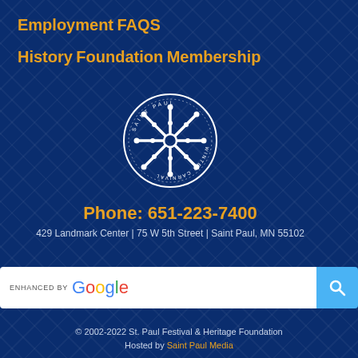Employment
FAQS
History
Foundation
Membership
[Figure (logo): Saint Paul Winter Carnival circular snowflake logo in white]
Phone: 651-223-7400
429 Landmark Center | 75 W 5th Street | Saint Paul, MN 55102
[Figure (screenshot): Enhanced by Google search bar with magnifying glass button]
© 2002-2022 St. Paul Festival & Heritage Foundation Hosted by Saint Paul Media